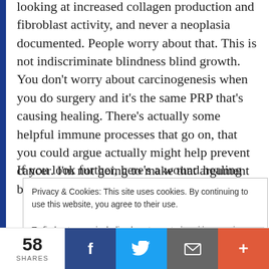looking at increased collagen production and fibroblast activity, and never a neoplasia documented. People worry about that. This is not indiscriminate blindness blind growth. You don't worry about carcinogenesis when you do surgery and it's the same PRP that's causing healing. There's actually some helpful immune processes that go on, that you could argue actually might help prevent cancer. I'm not going to make that argument but it might need to be made one day.
If you look further, here's a wound healing study
Privacy & Cookies: This site uses cookies. By continuing to use this website, you agree to their use.
To find out more, including how to control cookies, see here: Cookie Policy
58 SHARES